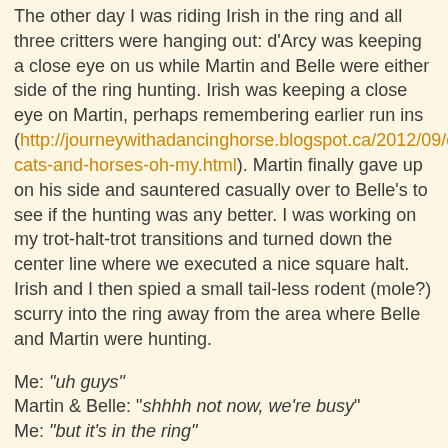The other day I was riding Irish in the ring and all three critters were hanging out: d'Arcy was keeping a close eye on us while Martin and Belle were either side of the ring hunting. Irish was keeping a close eye on Martin, perhaps remembering earlier run ins (http://journeywithadancinghorse.blogspot.ca/2012/09/dogs-cats-and-horses-oh-my.html). Martin finally gave up on his side and sauntered casually over to Belle's to see if the hunting was any better. I was working on my trot-halt-trot transitions and turned down the center line where we executed a nice square halt. Irish and I then spied a small tail-less rodent (mole?) scurry into the ring away from the area where Belle and Martin were hunting.
Me: "uh guys"
Martin & Belle: "shhhh not now, we're busy"
Me: "but it's in the ring"
they ignored me.
The rodent is now at the quarter line
Me: "guys, the mouse is in the ring!"
Belle: "what's she on about?"
Martin: "no idea, just ignore her"
The remaining critters saunter to the half quarter line, but stay...